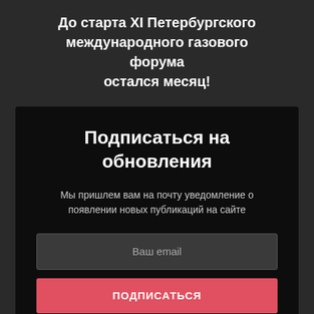До старта XI Петербургского международного газового форума остался месяц!
Подписаться на обновления
Мы пришлем вам на почту уведомление о появлении новых публикаций на сайте
Ваш email
ПОДПИСАТЬСЯ
Согласие на обработку персональных данных